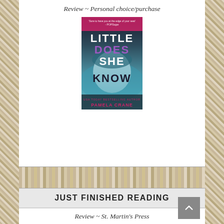Review ~ Personal choice/purchase
[Figure (photo): Book cover of 'Little Does She Know' by Pamela Crane, showing a person underwater with the title in large text. Quote at top: 'Sure to have you at the edge of your seat' - POPSugar. USA TODAY Bestselling Author.]
JUST FINISHED READING
Review ~ St. Martin's Press
My rating: 5 stars
Review to be posted TBD
[Figure (photo): Book cover of 'The Blame' - partial cover visible, showing a blue/white misty background with script title text. Top text reads 'Author of The Other Woman, The Betrayal' and 'Reese's Book Club Pick'.]